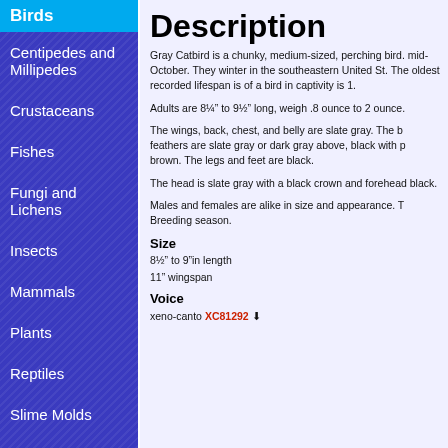Birds
Centipedes and Millipedes
Crustaceans
Fishes
Fungi and Lichens
Insects
Mammals
Plants
Reptiles
Slime Molds
Snails and Slugs
Description
Gray Catbird is a chunky, medium-sized, perching bird. mid-October. They winter in the southeastern United St. The oldest recorded lifespan is of a bird in captivity is 1.
Adults are 8¼" to 9½" long, weigh .8 ounce to 2 ounce.
The wings, back, chest, and belly are slate gray. The b feathers are slate gray or dark gray above, black with p brown. The legs and feet are black.
The head is slate gray with a black crown and forehead black.
Males and females are alike in size and appearance. T Breeding season.
Size
8½" to 9"in length
11" wingspan
Voice
xeno-canto XC81292 ⬇